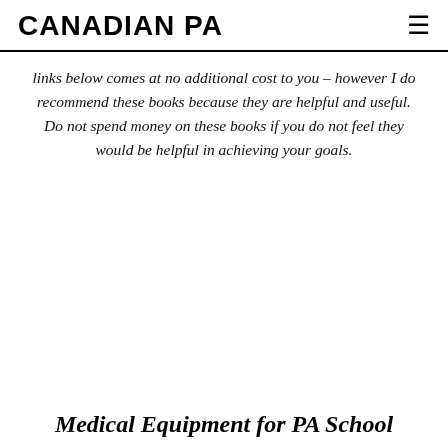CANADIAN PA
links below comes at no additional cost to you – however I do recommend these books because they are helpful and useful. Do not spend money on these books if you do not feel they would be helpful in achieving your goals.
Medical Equipment for PA School